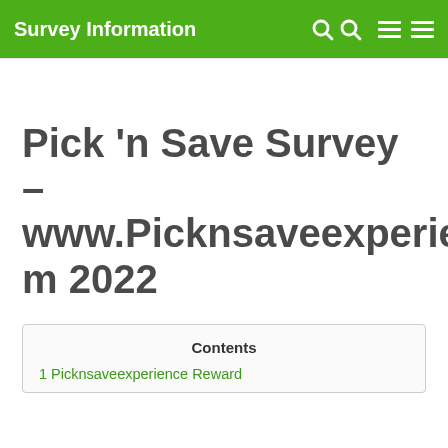Survey Information
Pick 'n Save Survey – www.Picknsaveexperience.com 2022
Contents
1 Picknsaveexperience Reward